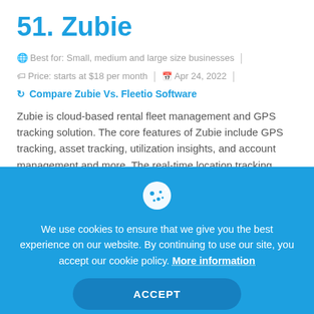51. Zubie
Best for: Small, medium and large size businesses | Price: starts at $18 per month | Apr 24, 2022
Compare Zubie Vs. Fleetio Software
Zubie is cloud-based rental fleet management and GPS tracking solution. The core features of Zubie include GPS tracking, asset tracking, utilization insights, and account management and more. The real-time location tracking enables the user to locate where a fleet vehicle is in real time.
We use cookies to ensure that we give you the best experience on our website. By continuing to use our site, you accept our cookie policy. More information
ACCEPT